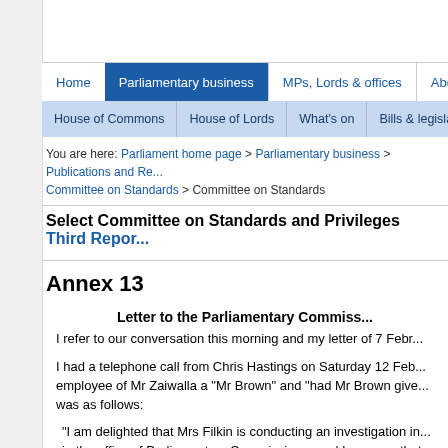Home | Parliamentary business | MPs, Lords & offices | About | House of Commons | House of Lords | What's on | Bills & legislation
You are here: Parliament home page > Parliamentary business > Publications and Re... Committee on Standards > Committee on Standards
Select Committee on Standards and Privileges Third Report
Annex 13
Letter to the Parliamentary Commiss...
I refer to our conversation this morning and my letter of 7 Febr...
I had a telephone call from Chris Hastings on Saturday 12 Feb... employee of Mr Zaiwalla a "Mr Brown" and "had Mr Brown give... was as follows:
"I am delighted that Mrs Filkin is conducting an investigation in... in the office of Parliamentary Commissioner and I am sure that...